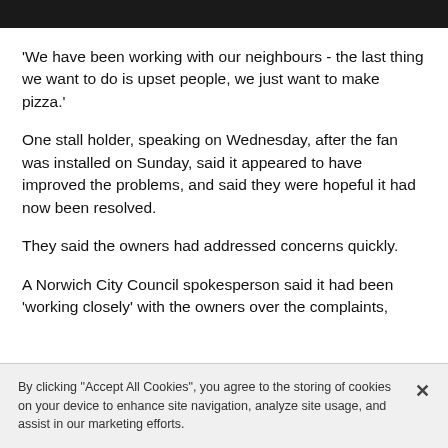'We have been working with our neighbours - the last thing we want to do is upset people, we just want to make pizza.'
One stall holder, speaking on Wednesday, after the fan was installed on Sunday, said it appeared to have improved the problems, and said they were hopeful it had now been resolved.
They said the owners had addressed concerns quickly.
A Norwich City Council spokesperson said it had been 'working closely' with the owners over the complaints,
By clicking "Accept All Cookies", you agree to the storing of cookies on your device to enhance site navigation, analyze site usage, and assist in our marketing efforts.